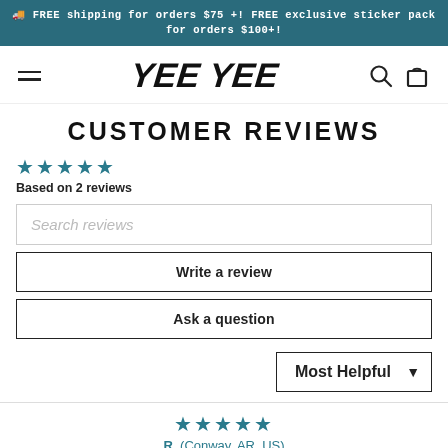🚚 FREE shipping for orders $75 +! FREE exclusive sticker pack for orders $100+!
[Figure (logo): Yee Yee brand logo with hamburger menu, search and cart icons in navigation bar]
CUSTOMER REVIEWS
★★★★★ Based on 2 reviews
Search reviews
Write a review
Ask a question
Most Helpful
★★★★★ R. (Conway, AR, US)